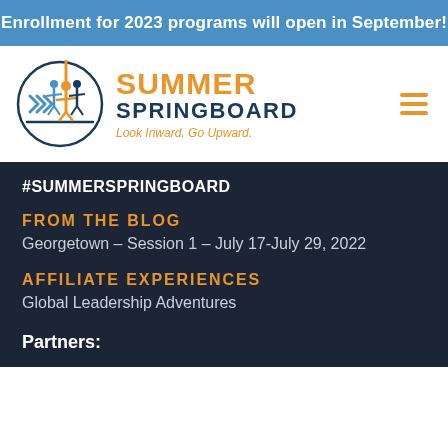Enrollment for 2023 programs will open in September!
[Figure (logo): Summer Springboard logo — circular emblem with stylized people figures and blue arrows, with orange SUMMER SPRINGBOARD text and tagline Look Inward. Go Upward.]
#SUMMERSPRINGBOARD
FROM THE BLOG
Georgetown – Session 1 – July 17-July 29, 2022
AFFILIATE EXPERIENCES
Global Leadership Adventures
Partners: